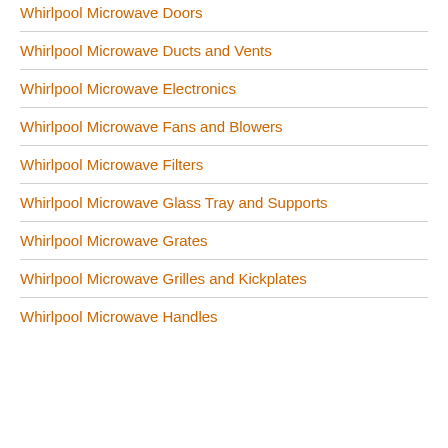Whirlpool Microwave Doors
Whirlpool Microwave Ducts and Vents
Whirlpool Microwave Electronics
Whirlpool Microwave Fans and Blowers
Whirlpool Microwave Filters
Whirlpool Microwave Glass Tray and Supports
Whirlpool Microwave Grates
Whirlpool Microwave Grilles and Kickplates
Whirlpool Microwave Handles